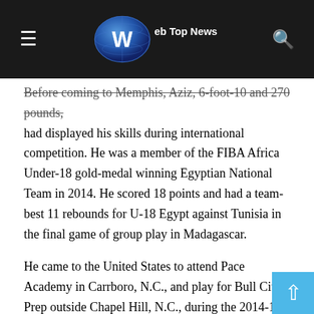Web Top News
Before coming to Memphis, Aziz, 6-foot-10 and 270 pounds, had displayed his skills during international competition. He was a member of the FIBA Africa Under-18 gold-medal winning Egyptian National Team in 2014. He scored 18 points and had a team-best 11 rebounds for U-18 Egypt against Tunisia in the final game of group play in Madagascar.
He came to the United States to attend Pace Academy in Carrboro, N.C., and play for Bull City Prep outside Chapel Hill, N.C., during the 2014-15 season. He transferred to Hales Franciscan High School in Chicago for his senior season and averaged 8.3 points and 6.3 rebounds.
While sitting out his first season at Memphis, he impressed teammates with his work ethic and training methods. He lost 20 pounds through a combination of hard work and a proper